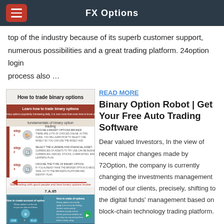FX Options
top of the industry because of its superb customer support, numerous possibilities and a great trading platform. 24option login process also …
[Figure (infographic): Infographic titled 'How to trade binary options' showing steps with icons for fundamentals of binary option trading, steps for choosing a broker, selecting trading pairs, and choosing type of binary options, with a range of assets list including Bonuses, Free Demo Account, Ebooks and Training, Payment Methods, branded What's Binary Options logo]
READ MORE
Binary Option Robot | Get Your Free Auto Trading Software
Dear valued Investors, In the view of recent major changes made by 72Option, the company is currently changing the investments management model of our clients, precisely, shifting to the digital funds' management based on block-chain technology trading platform.